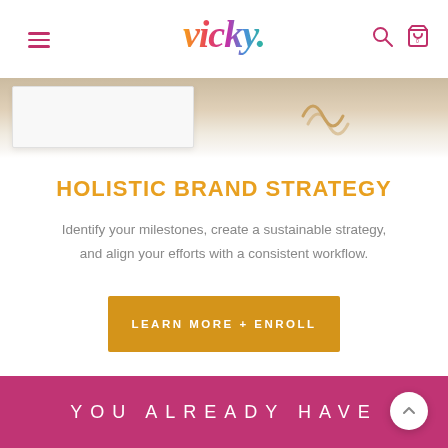[Figure (logo): Vicky brand logo in colorful gradient script lettering (orange to pink to purple to blue to teal), with hamburger menu icon on left and search/cart icons on right]
[Figure (photo): Partial banner image showing a white document/book and decorative squiggle illustration on a light background]
HOLISTIC BRAND STRATEGY
Identify your milestones, create a sustainable strategy, and align your efforts with a consistent workflow.
LEARN MORE + ENROLL
YOU ALREADY HAVE